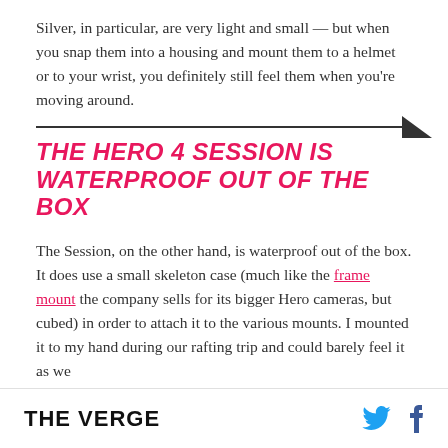Silver, in particular, are very light and small — but when you snap them into a housing and mount them to a helmet or to your wrist, you definitely still feel them when you're moving around.
THE HERO 4 SESSION IS WATERPROOF OUT OF THE BOX
The Session, on the other hand, is waterproof out of the box. It does use a small skeleton case (much like the frame mount the company sells for its bigger Hero cameras, but cubed) in order to attach it to the various mounts. I mounted it to my hand during our rafting trip and could barely feel it as we
THE VERGE